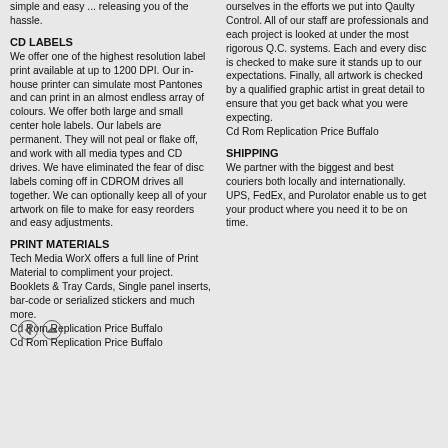simple and easy ... releasing you of the hassle.
CD LABELS
We offer one of the highest resolution label print available at up to 1200 DPI. Our in-house printer can simulate most Pantones and can print in an almost endless array of colours. We offer both large and small center hole labels. Our labels are permanent. They will not peal or flake off, and work with all media types and CD drives. We have eliminated the fear of disc labels coming off in CDROM drives all together. We can optionally keep all of your artwork on file to make for easy reorders and easy adjustments.
PRINT MATERIALS
Tech Media WorX offers a full line of Print Material to compliment your project. Booklets & Tray Cards, Single panel inserts, bar-code or serialized stickers and much more.
Cd Rom Replication Price Buffalo
Cd Rom Replication Price Buffalo
ourselves in the efforts we put into Qaulty Control. All of our staff are professionals and each project is looked at under the most rigorous Q.C. systems. Each and every disc is checked to make sure it stands up to our expectations. Finally, all artwork is checked by a qualified graphic artist in great detail to ensure that you get back what you were expecting.
Cd Rom Replication Price Buffalo
SHIPPING
We partner with the biggest and best couriers both locally and internationally. UPS, FedEx, and Purolator enable us to get your product where you need it to be on time.